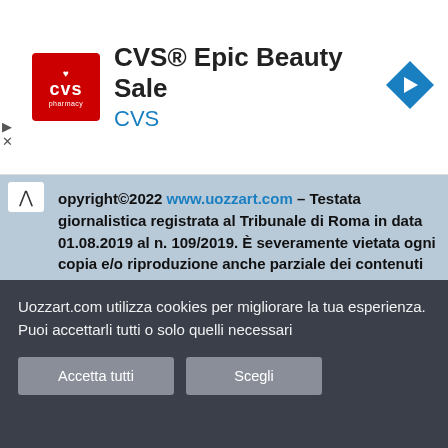[Figure (screenshot): CVS Pharmacy advertisement banner with red logo, title 'CVS® Epic Beauty Sale', subtitle 'CVS' in blue, and a blue diamond navigation arrow icon on the right.]
Copyright©2022 www.uozzart.com – Testata giornalistica registrata al Tribunale di Roma in data 01.08.2019 al n. 109/2019. È severamente vietata ogni copia e/o riproduzione anche parziale dei contenuti del sito, senza un'esplicita autorizzazione della redazione. Tutti i diritti sono riservati. P.IVA 04314710759
Per l'invio di comunicati, attività di ufficio stampa e collaborazioni, scrivete a stampa@uozzart.com
Uozzart.com utilizza cookies per migliorare la tua esperienza. Puoi accettarli tutti o solo quelli necessari